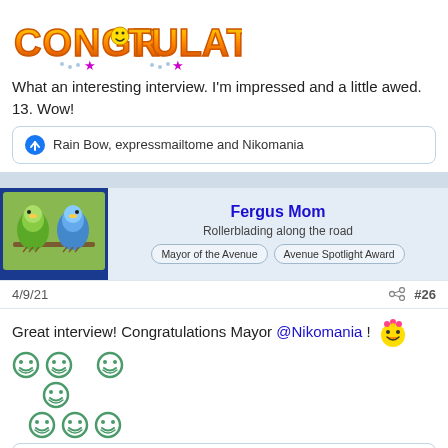[Figure (illustration): Colorful cartoon 'CONGRATULATIONS!' text in orange gradient bubble letters with stars and decorative elements]
What an interesting interview. I'm impressed and a little awed. 13. Wow!
Rain Bow, expressmailtome and Nikomania
[Figure (photo): User avatar showing two parakeets/budgies, one green and one blue]
Fergus Mom
Rollerblading along the road
Mayor of the Avenue   Avenue Spotlight Award
4/9/21
#26
Great interview! Congratulations Mayor @Nikomania !
Nikomania, Rain Bow and expressmailtome